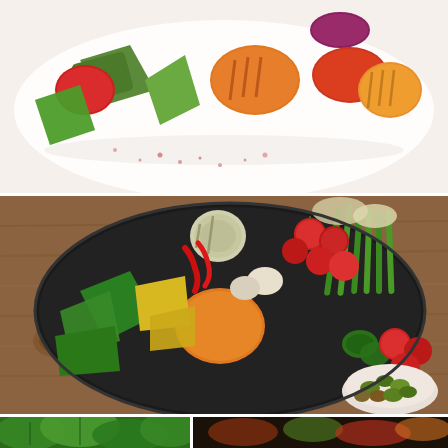[Figure (photo): Grilled and roasted vegetables including zucchini, tomatoes, orange squash/pumpkin, red peppers, and red onion on a white plate, with red spice seasoning scattered around]
[Figure (photo): Large round black platter filled with colorful grilled vegetables including cherry tomatoes, asparagus, green bell peppers, orange bell pepper, yellow squash, zucchini rounds, red chili peppers, garlic, jalapeños, and a small white bowl of mixed green and brown olives, all arranged on a rustic wooden table]
[Figure (photo): Close-up of green leaves/herbs, bottom left of page]
[Figure (photo): Food photo on dark background, bottom right of page]